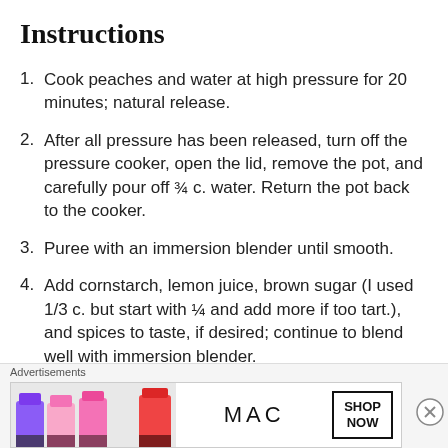Instructions
Cook peaches and water at high pressure for 20 minutes; natural release.
After all pressure has been released, turn off the pressure cooker, open the lid, remove the pot, and carefully pour off ¾ c. water. Return the pot back to the cooker.
Puree with an immersion blender until smooth.
Add cornstarch, lemon juice, brown sugar (I used 1/3 c. but start with ¼ and add more if too tart.), and spices to taste, if desired; continue to blend well with immersion blender.
Tu... (partially visible)
[Figure (advertisement): MAC cosmetics advertisement showing lipsticks with SHOP NOW button]